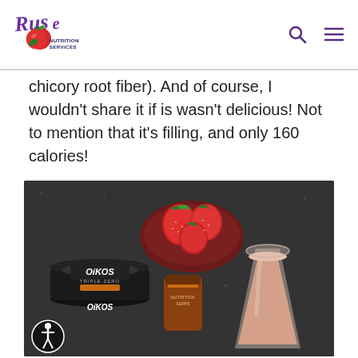[Figure (logo): Ruse Nutrition Services logo with stylized text and tomato/plant graphic in red and purple]
chicory root fiber). And of course, I wouldn't share it if is wasn't delicious! Not to mention that it's filling, and only 160 calories!
[Figure (photo): Photo of smoothie ingredients: Oikos Triple Zero yogurt container, small jar of supplement, bowl of fresh strawberries, and a glass of pinkish-cream smoothie on a dark granite countertop]